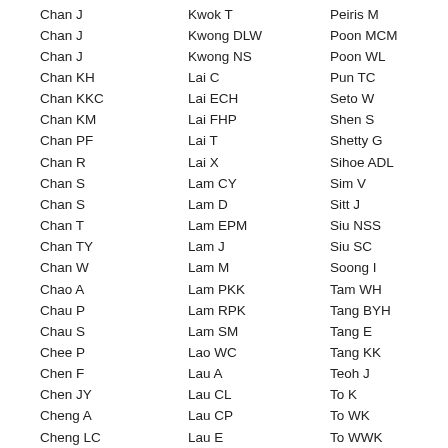Chan J | Kwok T | Peiris M
Chan J | Kwong DLW | Poon MCM
Chan J | Kwong NS | Poon WL
Chan KH | Lai C | Pun TC
Chan KKC | Lai ECH | Seto W
Chan KM | Lai FHP | Shen S
Chan PF | Lai T | Shetty G
Chan R | Lai X | Sihoe ADL
Chan S | Lam CY | Sim V
Chan S | Lam D | Sitt J
Chan T | Lam EPM | Siu NSS
Chan TY | Lam J | Siu SC
Chan W | Lam M | Soong I
Chao A | Lam PKK | Tam WH
Chau P | Lam RPK | Tang BYH
Chau S | Lam SM | Tang E
Chee P | Lao WC | Tang KK
Chen F | Lau A | Teoh J
Chen JY | Lau CL | To K
Cheng A | Lau CP | To WK
Cheng LC | Lau E | To WWK
Cheng MMC | Lau E | Tong J
Cheng N | Lau WL | Tse DML